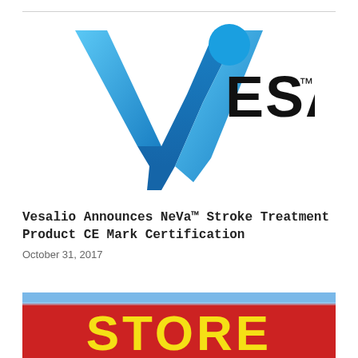[Figure (logo): Vesalio company logo: large blue V shape with a blue circle dot above, and the text ESALIO with TM superscript in black bold letters]
Vesalio Announces NeVa™ Stroke Treatment Product CE Mark Certification
October 31, 2017
[Figure (photo): A red sign with bold yellow text reading STORE, seen from below against a blue sky background]